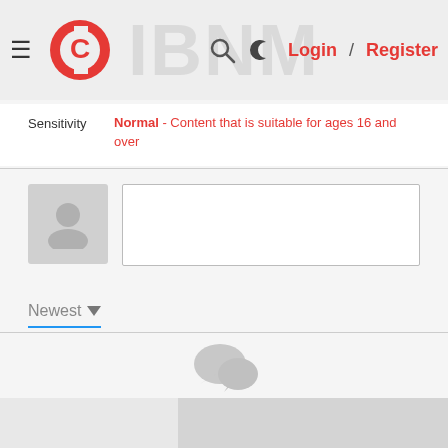Login / Register
Sensitivity
Normal - Content that is suitable for ages 16 and over
[Figure (other): User avatar placeholder icon]
Newest
No comments
Unmute
[Figure (other): Bottom image placeholder area]